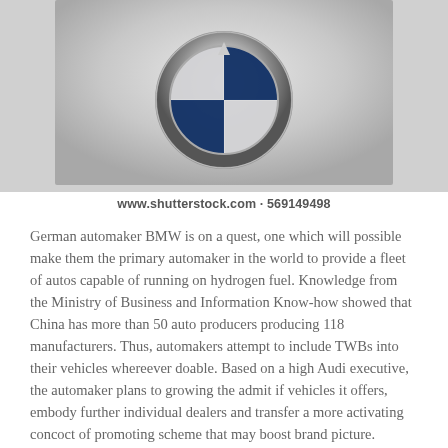[Figure (photo): Close-up photo of a car emblem/logo (appears to be a BMW or similar circular chrome badge) on a white vehicle hood]
www.shutterstock.com · 569149498
German automaker BMW is on a quest, one which will possible make them the primary automaker in the world to provide a fleet of autos capable of running on hydrogen fuel. Knowledge from the Ministry of Business and Information Know-how showed that China has more than 50 auto producers producing 118 manufacturers. Thus, automakers attempt to include TWBs into their vehicles whereever doable. Based on a high Audi executive, the automaker plans to growing the admit if vehicles it offers, embody further individual dealers and transfer a more activating concoct of promoting scheme that may boost brand picture.
Doing this permits automakers to each put together for the longer term and avoid extinction, say business insiders. McLaren expects to sell about 5,000 automobiles in 2019, growing progressively to